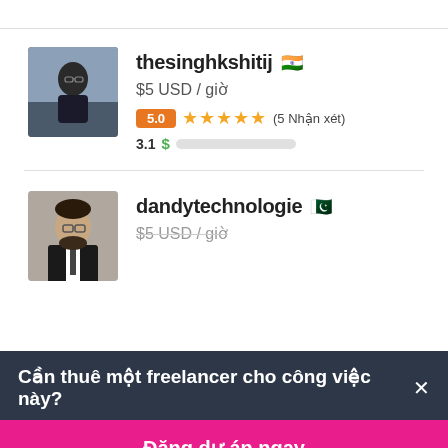[Figure (photo): Avatar photo of thesinghkshitij, a young man with glasses]
thesinghkshitij 🇮🇳
$5 USD / giờ
5.0 ★★★★★ (5 Nhận xét)
3.1 $ [progress bar]
[Figure (photo): Avatar photo of dandytechnologie, a man in a suit with beard]
dandytechnologie 🇵🇰
$5 USD / giờ
Cần thuê một freelancer cho công việc này? ×
Đăng dự án ngay